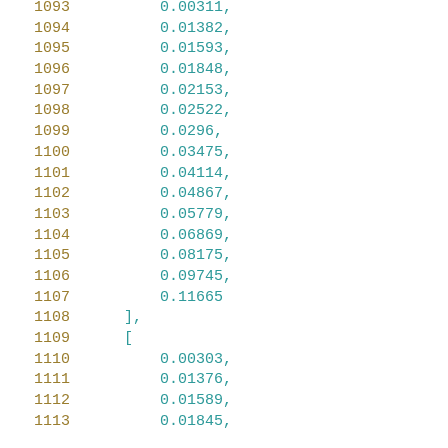Code listing lines 1093–1113 showing array data with line numbers and floating point values